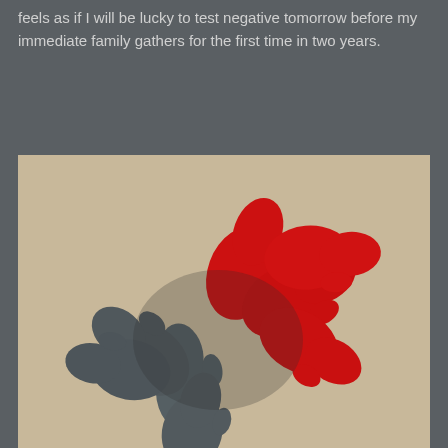feels as if I will be lucky to test negative tomorrow before my immediate family gathers for the first time in two years.
[Figure (photo): A photograph of red and dark grey/charcoal mittens arranged in a flower or pinwheel pattern on a beige carpet background. The red mittens are on the right/top and the grey mittens are on the left/bottom, arranged so their cuffs meet in the center.]